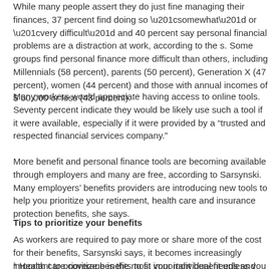While many people assert they do just fine managing their finances, 37 percent find doing so “somewhat” or “very difficult” and 40 percent say personal financial problems are a distraction at work, according to the s. Some groups find personal finance more difficult than others, including Millennials (58 percent), parents (50 percent), Generation X (47 percent), women (44 percent) and those with annual incomes of $ 50,000 or less (43 percent).
Many workers would appreciate having access to online tools. Seventy percent indicate they would be likely use such a tool if it were available, especially if it were provided by a “trusted and respected financial services company.”
More benefit and personal finance tools are becoming available through employers and many are free, according to Sarsynski. Many employers’ benefits providers are introducing new tools to help you prioritize your retirement, health care and insurance protection benefits, she says.
Tips to prioritize your benefits
As workers are required to pay more or share more of the cost for their benefits, Sarsynski says, it becomes increasingly important to prioritize benefits to fit your individual needs and budget:
* Health care coverage is the most important benefit unless you are alr